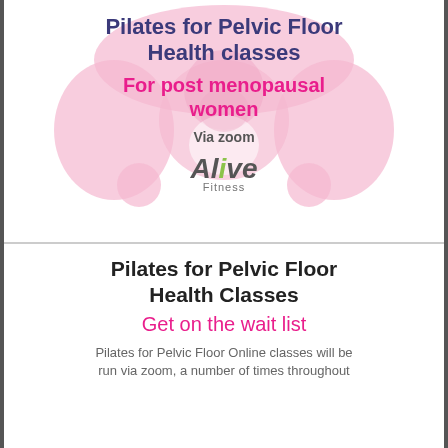[Figure (illustration): Pink silhouette illustration of a pelvis/pelvic floor anatomy as background image in the top half of the page]
Pilates for Pelvic Floor Health classes
For post menopausal women
Via zoom
[Figure (logo): Alive Fitness logo with stylized italic text, 'i' highlighted in green]
Pilates for Pelvic Floor Health Classes
Get on the wait list
Pilates for Pelvic Floor Online classes will be run via zoom, a number of times throughout